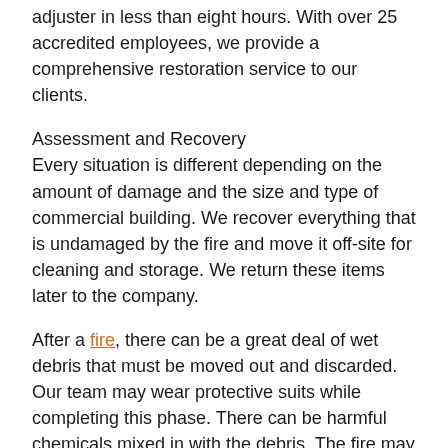adjuster in less than eight hours. With over 25 accredited employees, we provide a comprehensive restoration service to our clients.
Assessment and Recovery
Every situation is different depending on the amount of damage and the size and type of commercial building. We recover everything that is undamaged by the fire and move it off-site for cleaning and storage. We return these items later to the company.
After a fire, there can be a great deal of wet debris that must be moved out and discarded. Our team may wear protective suits while completing this phase. There can be harmful chemicals mixed in with the debris. The fire may have damaged the structure, and smoke penetrated the walls, ceiling spaces damaging wiring and ducts, as well as flooring materials.
In many cases, SERVPRO recommends the removal of all drywall, false ceilings, and flooring materials to expose the structure. Structural elements can be cleaned if needed or